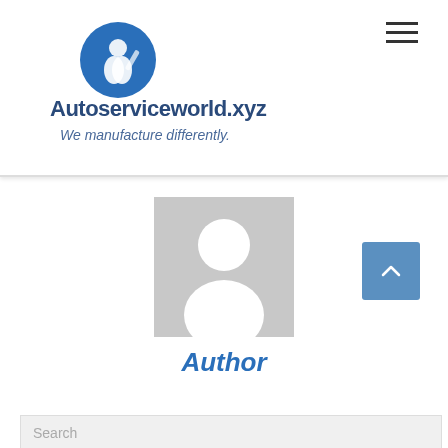[Figure (logo): Autoserviceworld.xyz logo with blue circular icon showing a wrench and gear, and text 'Autoserviceworld.xyz We manufacture differently.']
[Figure (photo): Generic grey avatar placeholder silhouette image representing an author profile picture]
Author
Search